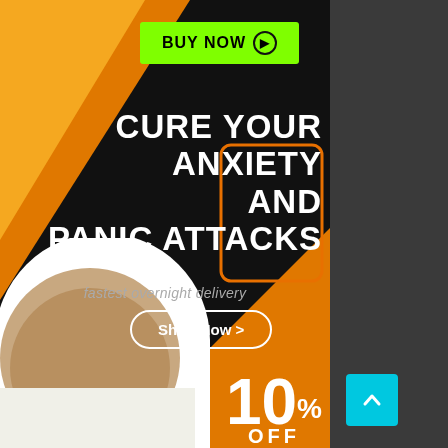[Figure (infographic): Dark background advertisement for anxiety and panic attacks treatment. Orange triangular shapes top-left and bottom-right. White oval with person silhouette bottom-left. Green 'BUY NOW' button top center. Main white bold text 'CURE YOUR ANXIETY AND PANIC ATTACKS'. Grey italic text 'fastest overnight delivery'. White 'Shop Now >' pill button. '10% OFF' discount text bottom-right. Cyan scroll-to-top button far right.]